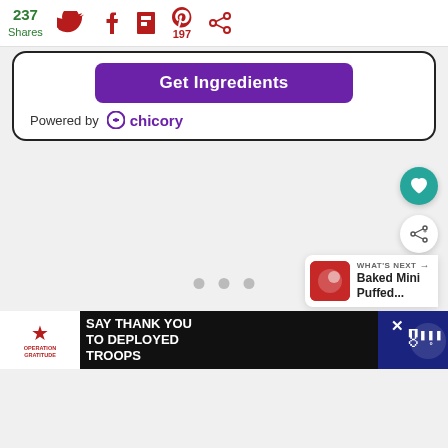237 Shares — social share icons (Twitter, Facebook, Flipboard, Pinterest 197, circle icon)
[Figure (screenshot): Get Ingredients button (purple) with 'Powered by chicory' branding below, inside a rounded black-bordered white box]
[Figure (screenshot): Light gray content area with three gray dots (carousel indicators) and side action buttons (teal heart, white share), plus a 'WHAT'S NEXT' card showing 'Baked Mini Puffed...']
[Figure (screenshot): Ad banner for Operation Gratitude: 'SAY THANK YOU TO DEPLOYED TROOPS' on black background with logo and patriotic imagery, close X button, and weather widget icon]